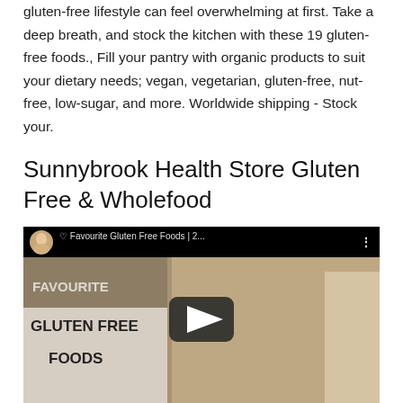gluten-free lifestyle can feel overwhelming at first. Take a deep breath, and stock the kitchen with these 19 gluten-free foods., Fill your pantry with organic products to suit your dietary needs; vegan, vegetarian, gluten-free, nut-free, low-sugar, and more. Worldwide shipping - Stock your.
Sunnybrook Health Store Gluten Free & Wholefood
[Figure (screenshot): Embedded YouTube video thumbnail showing a blonde woman holding gluten-free food products. The video title bar reads 'Favourite Gluten Free Foods | 2...' with a heart symbol and channel avatar. Text overlay on video reads 'FAVOURITE GLUTEN FREE FOODS'. A dark play button is centered on the video.]